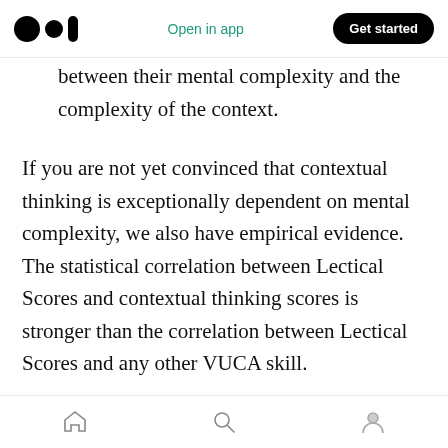Open in app | Get started
between their mental complexity and the complexity of the context.
If you are not yet convinced that contextual thinking is exceptionally dependent on mental complexity, we also have empirical evidence. The statistical correlation between Lectical Scores and contextual thinking scores is stronger than the correlation between Lectical Scores and any other VUCA skill.
I'm tempted to stop here. However, like everything else related to mental development
Home | Search | Profile